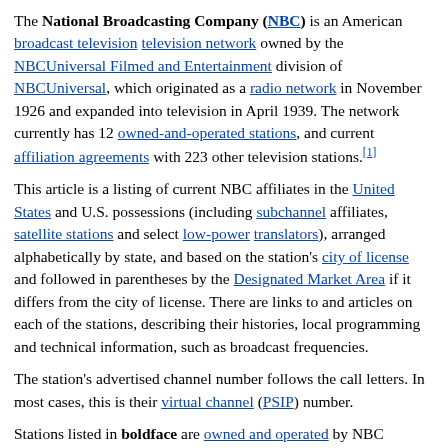The National Broadcasting Company (NBC) is an American broadcast television television network owned by the NBCUniversal Filmed and Entertainment division of NBCUniversal, which originated as a radio network in November 1926 and expanded into television in April 1939. The network currently has 12 owned-and-operated stations, and current affiliation agreements with 223 other television stations.[1]
This article is a listing of current NBC affiliates in the United States and U.S. possessions (including subchannel affiliates, satellite stations and select low-power translators), arranged alphabetically by state, and based on the station's city of license and followed in parentheses by the Designated Market Area if it differs from the city of license. There are links to and articles on each of the stations, describing their histories, local programming and technical information, such as broadcast frequencies.
The station's advertised channel number follows the call letters. In most cases, this is their virtual channel (PSIP) number.
Stations listed in boldface are owned and operated by NBC through its subsidiary NBCUniversal Owned Television Stations (excluding owned-and-operated stations of Telemundo, unless the station simulcasts a co-owned NBC O&O station via a digital subchannel).